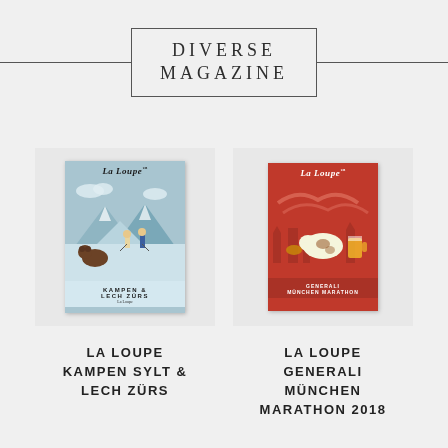DIVERSE MAGAZINE
[Figure (illustration): La Loupe magazine cover – Kampen & Lech Zürs edition, light blue illustrated cover]
LA LOUPE KAMPEN SYLT & LECH ZÜRS
[Figure (illustration): La Loupe magazine cover – Generali München Marathon 2018 edition, red illustrated cover]
LA LOUPE GENERALI MÜNCHEN MARATHON 2018